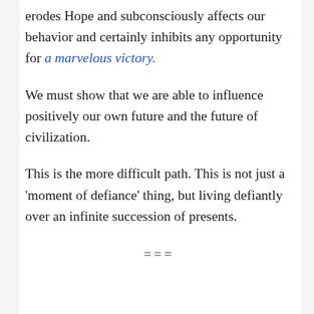erodes Hope and subconsciously affects our behavior and certainly inhibits any opportunity for a marvelous victory.
We must show that we are able to influence positively our own future and the future of civilization.
This is the more difficult path. This is not just a 'moment of defiance' thing, but living defiantly over an infinite succession of presents.
===